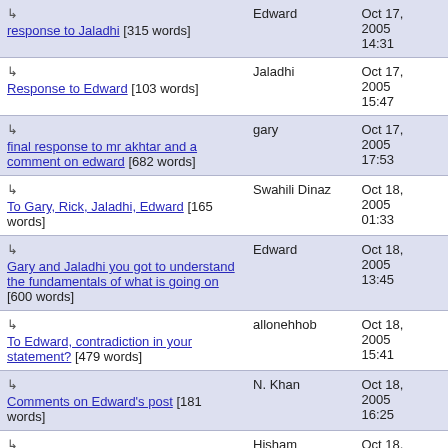| Title | Author | Date |
| --- | --- | --- |
| ↳ response to Jaladhi [315 words] | Edward | Oct 17, 2005 14:31 |
| ↳ Response to Edward [103 words] | Jaladhi | Oct 17, 2005 15:47 |
| ↳ final response to mr akhtar and a comment on edward [682 words] | gary | Oct 17, 2005 17:53 |
| ↳ To Gary, Rick, Jaladhi, Edward [165 words] | Swahili Dinaz | Oct 18, 2005 01:33 |
| ↳ Gary and Jaladhi you got to understand the fundamentals of what is going on [600 words] | Edward | Oct 18, 2005 13:45 |
| ↳ To Edward, contradiction in your statement? [479 words] | allonehhob | Oct 18, 2005 15:41 |
| ↳ Comments on Edward's post [181 words] | N. Khan | Oct 18, 2005 16:25 |
| ↳ To Edward [243 words] | Hisham | Oct 18, 2005 17:45 |